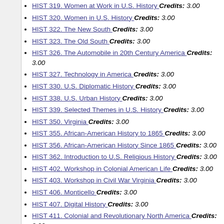HIST 319. Women at Work in U.S. History Credits: 3.00
HIST 320. Women in U.S. History Credits: 3.00
HIST 322. The New South Credits: 3.00
HIST 323. The Old South Credits: 3.00
HIST 326. The Automobile in 20th Century America Credits: 3.00
HIST 327. Technology in America Credits: 3.00
HIST 330. U.S. Diplomatic History Credits: 3.00
HIST 338. U.S. Urban History Credits: 3.00
HIST 339. Selected Themes in U.S. History Credits: 3.00
HIST 350. Virginia Credits: 3.00
HIST 355. African-American History to 1865 Credits: 3.00
HIST 356. African-American History Since 1865 Credits: 3.00
HIST 362. Introduction to U.S. Religious History Credits: 3.00
HIST 402. Workshop in Colonial American Life Credits: 3.00
HIST 403. Workshop in Civil War Virginia Credits: 3.00
HIST 406. Monticello Credits: 3.00
HIST 407. Digital History Credits: 3.00
HIST 411. Colonial and Revolutionary North America Credits: 3.00
HIST 420. Mobs, Taxes, War and Laws: The American Revolution Credits:
HIST 422. U.S. History, 1789-1848 Credits: 3.00
HIST 425. Civil War and Reconstruction Credits: 3.00
HIST 427. U.S. Environmental History Credits: 3.00
HIST 428. American Workers in the Industrial Age, 1877-1948 Credits: 3.00